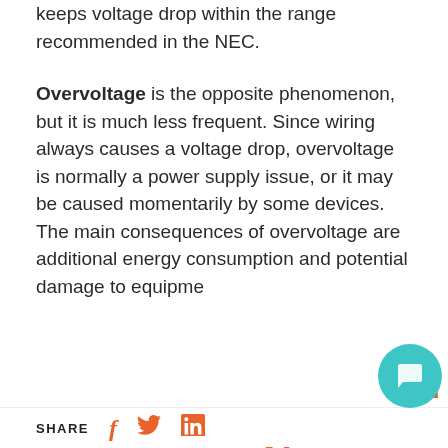keeps voltage drop within the range recommended in the NEC.
Overvoltage is the opposite phenomenon, but it is much less frequent. Since wiring always causes a voltage drop, overvoltage is normally a power supply issue, or it may be caused momentarily by some devices. The main consequences of overvoltage are additional energy consumption and potential damage to equipme...
Voltage Imbala...
Three-phase power is commonly used in large commercial and industrial settings. Ideally, elec...loads s...uid i...evenly...
[Figure (screenshot): Chat popup overlay with orange N icon, close button (x), and text 'If you have any question, don't be shy.']
SHARE [Facebook] [Twitter] [LinkedIn]